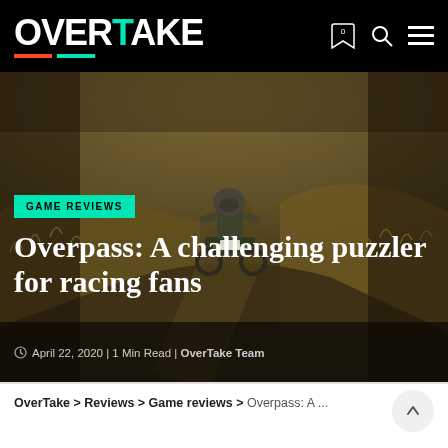OVERTAKE
[Figure (photo): Hero image of a motocross rider on a dirt bike navigating a rugged off-road trail in a foggy, autumnal landscape. The rider wears a helmet and protective gear. The scene is dark and atmospheric with golden-brown terrain.]
GAME REVIEWS
Overpass: A challenging puzzler for racing fans
April 22, 2020 | 1 Min Read | OverTake Team
OverTake > Reviews > Game reviews > Overpass: A ...